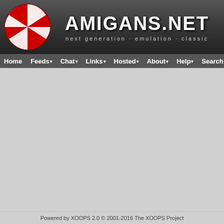[Figure (logo): Amigans.net website header with red/white checkered ball logo and site name]
Home  Feeds  Chat  Links  Hosted  About  Help  Search
Excalibur and other tools apps.
Re: mplayer and VA.library
MickJT
202... 1...
Quite a regular
At the moment a hex ed... can probably be used to modify RadeonHD to RadeonRX in mplayer t... it working with comp_yu... The name is hardcod... (check this post).
Powered by XOOPS 2.0 © 2001-2016 The XOOPS Project